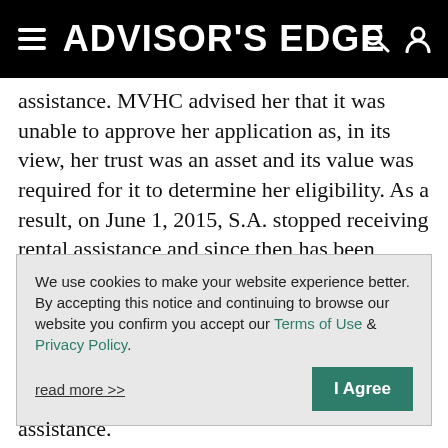ADVISOR'S EDGE
assistance. MVHC advised her that it was unable to approve her application as, in its view, her trust was an asset and its value was required for it to determine her eligibility. As a result, on June 1, 2015, S.A. stopped receiving rental assistance and since then has been paying her full rent “under protest.”
The lower courts held that the meaning of the
We use cookies to make your website experience better. By accepting this notice and continuing to browse our website you confirm you accept our Terms of Use & Privacy Policy.
read more >>
I Agree
assistance.